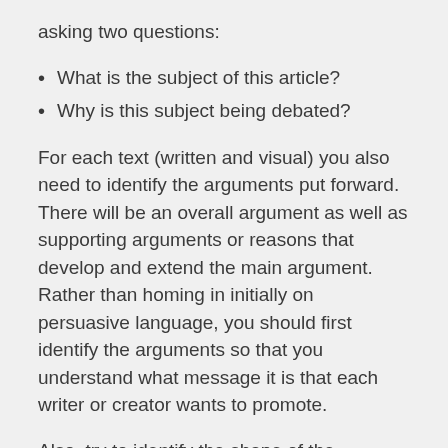asking two questions:
What is the subject of this article?
Why is this subject being debated?
For each text (written and visual) you also need to identify the arguments put forward. There will be an overall argument as well as supporting arguments or reasons that develop and extend the main argument. Rather than homing in initially on persuasive language, you should first identify the arguments so that you understand what message it is that each writer or creator wants to promote.
Also, try to identify the shape of the argument. Is it articulated straight away or does the writer gradually come to the point? What is the overall effect of this shape? Are any opposing views or rebuttal elements left until the end of the piece and, if so, what is the effect of this placement?